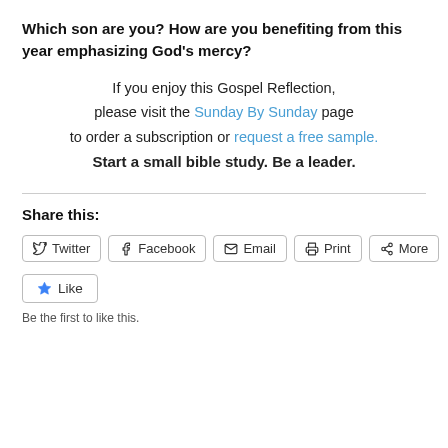Which son are you? How are you benefiting from this year emphasizing God's mercy?
If you enjoy this Gospel Reflection, please visit the Sunday By Sunday page to order a subscription or request a free sample. Start a small bible study. Be a leader.
Share this:
Twitter
Facebook
Email
Print
More
Like
Be the first to like this.